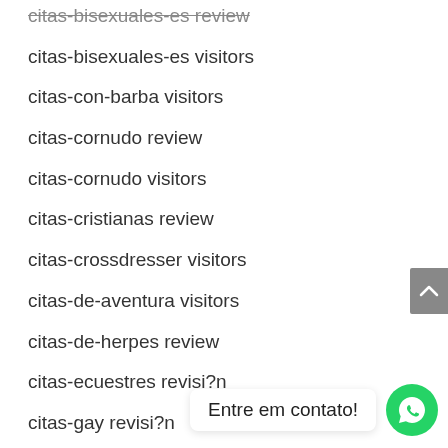citas-bisexuales-es review
citas-bisexuales-es visitors
citas-con-barba visitors
citas-cornudo review
citas-cornudo visitors
citas-cristianas review
citas-crossdresser visitors
citas-de-aventura visitors
citas-de-herpes review
citas-ecuestres revisi?n
citas-gay revisi?n
citas-hindu rev
citas-indio visitors
Entre em contato!